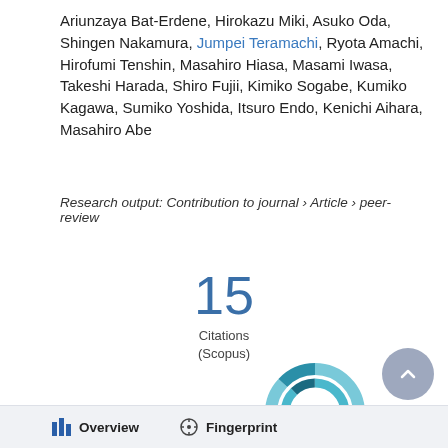Ariunzaya Bat-Erdene, Hirokazu Miki, Asuko Oda, Shingen Nakamura, Jumpei Teramachi, Ryota Amachi, Hirofumi Tenshin, Masahiro Hiasa, Masami Iwasa, Takeshi Harada, Shiro Fujii, Kimiko Sogabe, Kumiko Kagawa, Sumiko Yoshida, Itsuro Endo, Kenichi Aihara, Masahiro Abe
Research output: Contribution to journal › Article › peer-review
[Figure (infographic): Citation count badge showing 15 Citations (Scopus)]
[Figure (donut-chart): Donut/ring chart showing value 1, teal/blue colored rings]
Overview   Fingerprint